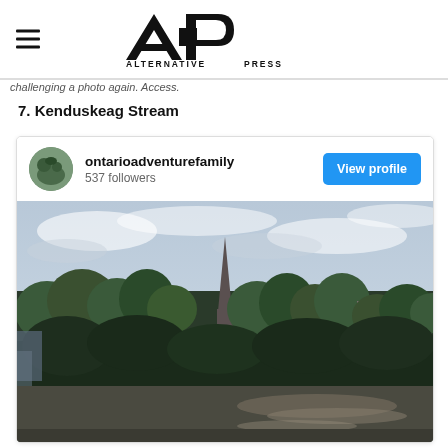Alternative Press (AP logo)
challenging a photo again. Access.
7. Kenduskeag Stream
[Figure (screenshot): Instagram profile card for ontarioadventurefamily with 537 followers and a View profile button, followed by a photo of Kenduskeag Stream showing trees, a church spire, buildings and a river at dusk.]